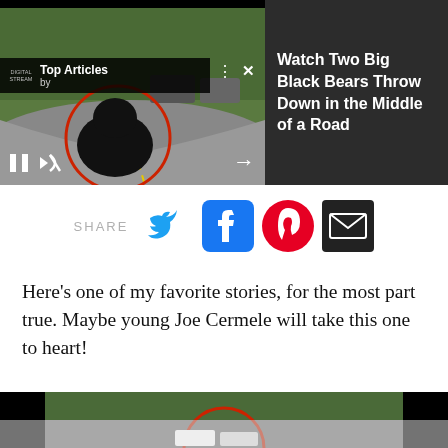[Figure (screenshot): Video player showing two black bears fighting in the middle of a road, with a red circle highlighting the bears. Controls visible at bottom.]
Watch Two Big Black Bears Throw Down in the Middle of a Road
[Figure (infographic): Share bar with Twitter, Facebook, Pinterest, and Email icons]
Here’s one of my favorite stories, for the most part true. Maybe young Joe Cermele will take this one to heart!
[Figure (photo): Partial bottom image showing trees and road scene with red targeting circle overlay]